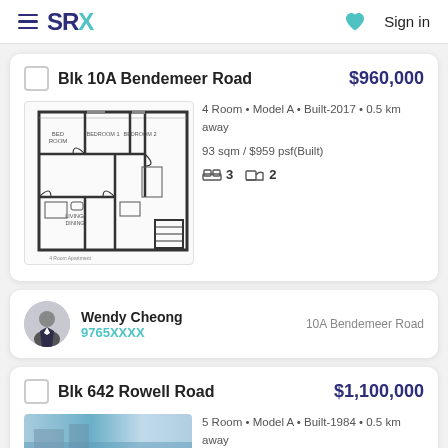SRX  Sign in
Blk 10A Bendemeer Road
$960,000
[Figure (engineering-diagram): Floor plan of 4-room HDB apartment at Blk 10A Bendemeer Road]
4 Room • Model A • Built-2017 • 0.5 km away
93 sqm / $959 psf(Built)
3  2
Wendy Cheong
9765XXXX
10A Bendemeer Road
Blk 642 Rowell Road
$1,100,000
5 Room • Model A • Built-1984 • 0.5 km away